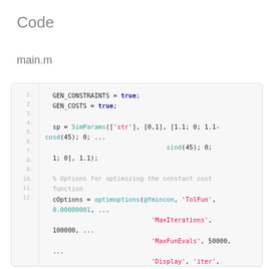Code
main.m
1.   GEN_CONSTRAINTS = true;
2.   GEN_COSTS = true;
3.
4.   sp = SimParams(['str'], [0,1], [1.1; 0; 1.1-cosd(45); 0; ...
5.                                 sind(45); 0; 1; 0], 1.1);
6.
7.   % Options for optimizing the constant cost function
8.   cOptions = optimoptions(@fmincon, 'TolFun', 0.00000001, ...
9.                            'MaxIterations', 100000, ...
10.                           'MaxFunEvals', 50000, ...
11.                           'Display', 'iter', 'Algorithm', 'sqp', ...
12.                           'StepTolerance', 1e-13, ...